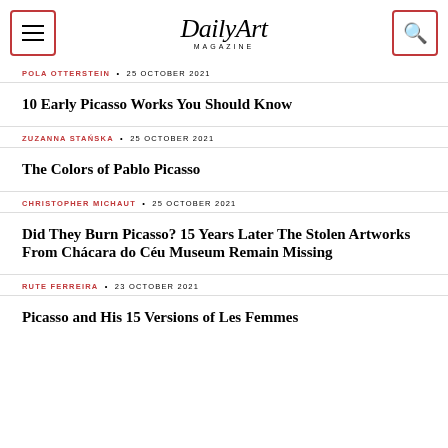DailyArt MAGAZINE
POLA OTTERSTEIN • 25 OCTOBER 2021
10 Early Picasso Works You Should Know
ZUZANNA STAŃSKA • 25 OCTOBER 2021
The Colors of Pablo Picasso
CHRISTOPHER MICHAUT • 25 OCTOBER 2021
Did They Burn Picasso? 15 Years Later The Stolen Artworks From Chácara do Céu Museum Remain Missing
RUTE FERREIRA • 23 OCTOBER 2021
Picasso and His 15 Versions of Les Femmes